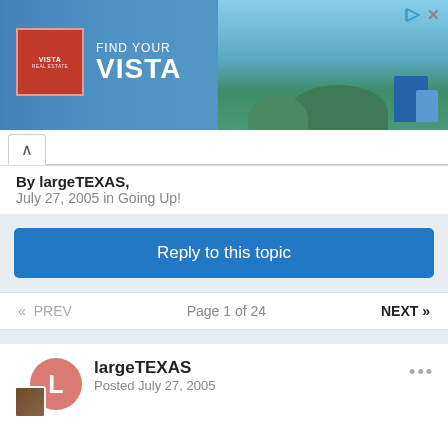[Figure (photo): Vista Real Estate advertisement banner with beach scene. Logo on left, 'FIND YOUR VISTA' text, beach aerial photo on right.]
By largeTEXAS,
July 27, 2005 in Going Up!
Reply to this topic
« PREV   Page 1 of 24   NEXT »
largeTEXAS
Posted July 27, 2005
Colorado Group Plans $80M Mixed-Use, Infill Project
By Jennifer D. Duell